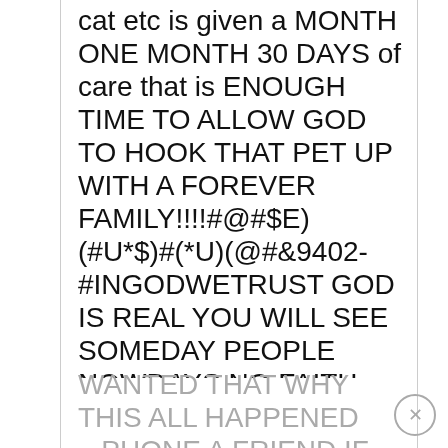cat etc is given a MONTH ONE MONTH 30 DAYS of care that is ENOUGH TIME TO ALLOW GOD TO HOOK THAT PET UP WITH A FOREVER FAMILY!!!!#@#$E)(#U*$)#(*U)(@#&9402-
#INGODWETRUST GOD IS REAL YOU WILL SEE SOMEDAY PEOPLE NOWDAYS NO FAITH GOD MADE EVOLUTION HAPPEN KNEW WHICH MATES HAD PROPER GENETIC MUTATIONS TO MATE AND BECOME NEW SPECIES GOT THEM TOGEHTER HIMSELF
IF PET NOT ADOPTED IN A MONTH SEND THE PET SOUL TO GOD...HE
WANTED THAT WHY THIS ALL HAPPENED ...PHONE A FRIEND IF YOU